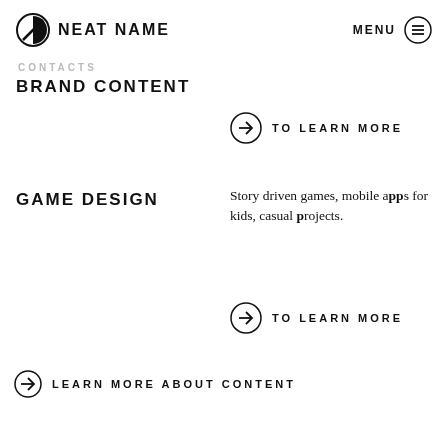NEAT NAME | MENU
CONTACTS
BRAND CONTENT
TO LEARN MORE
GAME DESIGN
Story driven games, mobile apps for kids, casual projects.
TO LEARN MORE
LEARN MORE ABOUT CONTENT